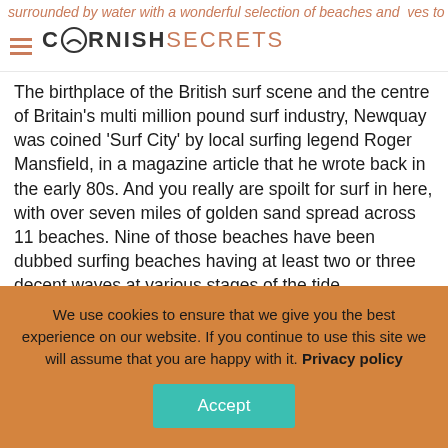surrounded by water with a wonderful selection of beaches and lives to explore — CORNISH SECRETS
The birthplace of the British surf scene and the centre of Britain's multi million pound surf industry, Newquay was coined 'Surf City' by local surfing legend Roger Mansfield, in a magazine article that he wrote back in the early 80s. And you really are spoilt for surf in here, with over seven miles of golden sand spread across 11 beaches. Nine of those beaches have been dubbed surfing beaches having at least two or three decent waves at various stages of the tide.
In previous years, Newquay may have held a reputation as a stag do and hen party destination because of its party town status. However, in more recent times Newquay has been reinvented and gentrified. You're now treated to cool foodie hangouts, independent bars and fine dining restaurants.
We use cookies to ensure that we give you the best experience on our website. If you continue to use this site we will assume that you are happy with it. Privacy policy
Accept